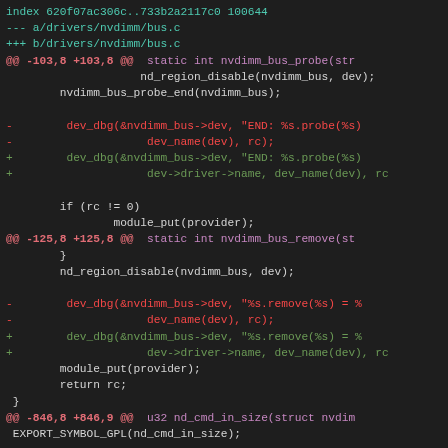[Figure (screenshot): Git diff output showing changes to drivers/nvdimm/bus.c, displayed in a dark-themed code editor. Shows hunks at lines -103,8 +103,8, -125,8 +125,8, and -846,8 +846,9 with removed lines in red/magenta and added lines in green.]